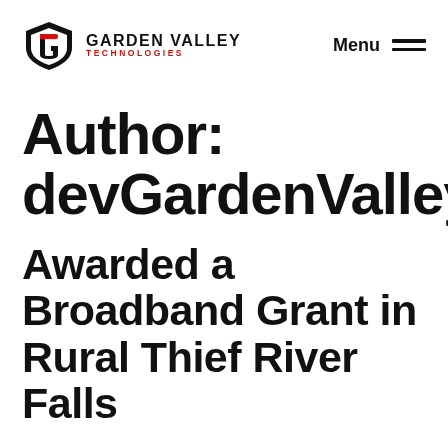[Figure (logo): Garden Valley Technologies logo with stylized G shield in red and black, text 'GARDEN VALLEY' bold black and 'TECHNOLOGIES' in red]
Menu
Author: devGardenValley
Awarded a Broadband Grant in Rural Thief River Falls